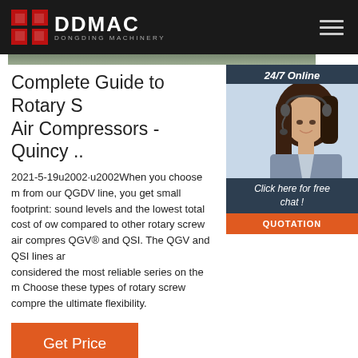DDMAC DONGDING MACHINERY
[Figure (photo): Partial photo strip of machinery/equipment]
Complete Guide to Rotary S Air Compressors - Quincy ..
[Figure (photo): 24/7 Online chat widget with woman wearing headset, Click here for free chat!, QUOTATION button]
2021-5-19u2002·u2002When you choose m from our QGDV line, you get small footprint sound levels and the lowest total cost of ow compared to other rotary screw air compres QGV® and QSI. The QGV and QSI lines ar considered the most reliable series on the m Choose these types of rotary screw compre the ultimate flexibility.
Get Price